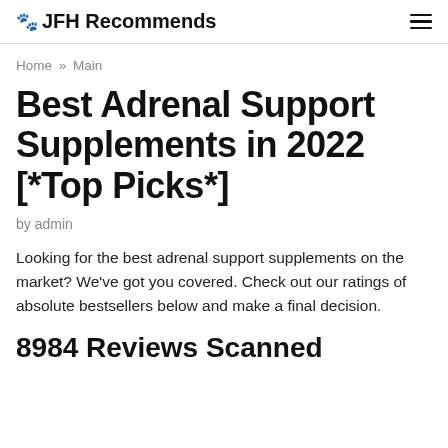🐾 JFH Recommends
Home » Main
Best Adrenal Support Supplements in 2022 [*Top Picks*]
by admin
Looking for the best adrenal support supplements on the market? We've got you covered. Check out our ratings of absolute bestsellers below and make a final decision.
8984 Reviews Scanned